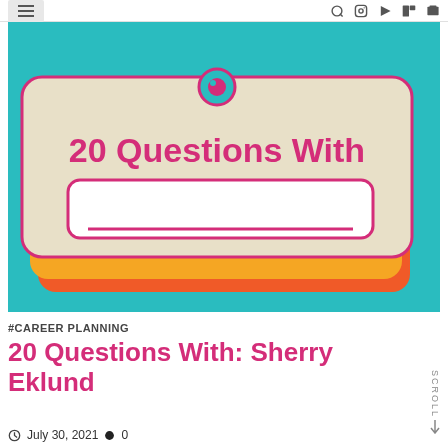Navigation header with hamburger menu and social icons
[Figure (illustration): Colorful illustration on teal/cyan background showing stacked card-like objects (beige/cream top card, yellow middle card, orange bottom card) with text '20 Questions With' in pink bold font and a white rounded rectangle name tag below it. A small teal circle icon visible at top center.]
#CAREER PLANNING
20 Questions With: Sherry Eklund
July 30, 2021   0